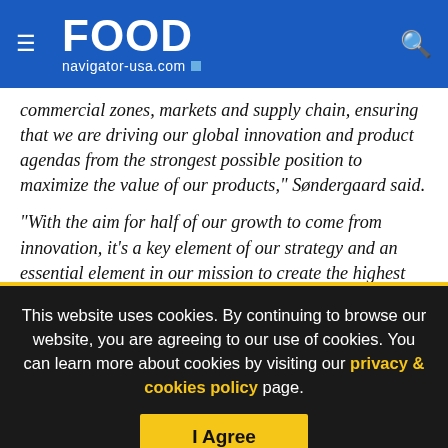FOOD navigator-usa.com
commercial zones, markets and supply chain, ensuring that we are driving our global innovation and product agendas from the strongest possible position to maximize the value of our products," Søndergaard said.

"With the aim for half of our growth to come from innovation, it's a key element of our strategy and an essential element in our mission to create the highest possible value for the milk supplied by our cooperative owners," she added.
This website uses cookies. By continuing to browse our website, you are agreeing to our use of cookies. You can learn more about cookies by visiting our privacy & cookies policy page.
I Agree